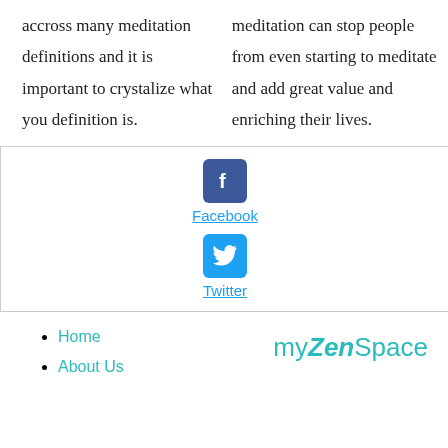accross many meditation definitions and it is important to crystalize what you definition is.
meditation can stop people from even starting to meditate and add great value and enriching their lives.
[Figure (illustration): Facebook icon (blue rounded square with white 'f') and link labeled 'Facebook', followed by Twitter icon (light blue rounded square with white bird) and link labeled 'Twitter', inside a bordered box]
Home
About Us
myZenSpace